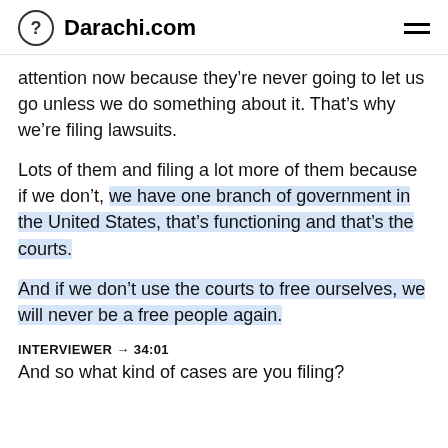? Darachi.com
attention now because they’re never going to let us go unless we do something about it. That’s why we’re filing lawsuits.
Lots of them and filing a lot more of them because if we don’t, we have one branch of government in the United States, that’s functioning and that’s the courts.
And if we don’t use the courts to free ourselves, we will never be a free people again.
INTERVIEWER → 34:01
And so what kind of cases are you filing?